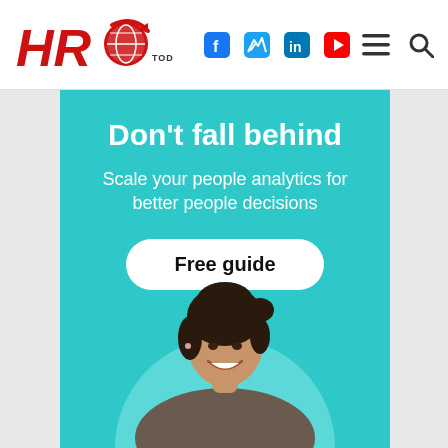HRO Today — navigation header with social icons (Facebook, Twitter, LinkedIn, YouTube), hamburger menu, and search
[Figure (infographic): Advertisement banner with teal/cyan background. Headline: Don't fall behind. Subtext: Scale your people analytics for better people decisions. Button: Free guide. Image of a smiling businesswoman.]